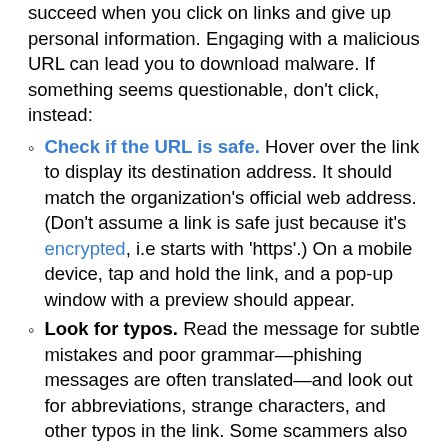succeed when you click on links and give up personal information. Engaging with a malicious URL can lead you to download malware. If something seems questionable, don't click, instead:
Check if the URL is safe. Hover over the link to display its destination address. It should match the organization's official web address. (Don't assume a link is safe just because it's encrypted, i.e starts with 'https'.) On a mobile device, tap and hold the link, and a pop-up window with a preview should appear.
Look for typos. Read the message for subtle mistakes and poor grammar—phishing messages are often translated—and look out for abbreviations, strange characters, and other typos in the link. Some scammers also alter